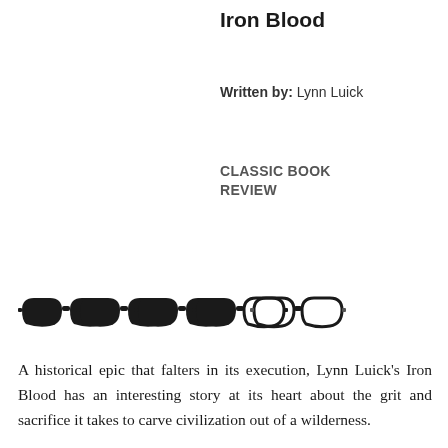Iron Blood
Written by: Lynn Luick
CLASSIC BOOK REVIEW
[Figure (illustration): A row of 7 sunglasses icons used as a rating system. Five are fully filled black, one is half-filled (left half black, right half white), and one is outlined/empty. Represents a rating of approximately 5.5 out of 7.]
A historical epic that falters in its execution, Lynn Luick's Iron Blood has an interesting story at its heart about the grit and sacrifice it takes to carve civilization out of a wilderness.